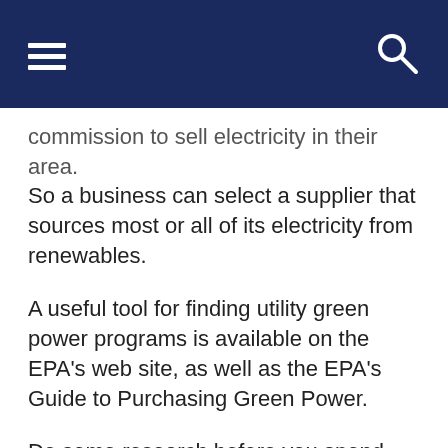commission to sell electricity in their area. So a business can select a supplier that sources most or all of its electricity from renewables.
A useful tool for finding utility green power programs is available on the EPA's web site, as well as the EPA's Guide to Purchasing Green Power.
Do some research before you spend extra money on your utility's green power program. It's good to know how your money